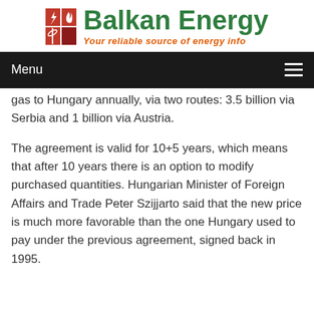[Figure (logo): Balkan Energy logo with red grid icon and green bold text 'Balkan Energy' with orange italic subtitle 'Your reliable source of energy info']
Menu
gas to Hungary annually, via two routes: 3.5 billion via Serbia and 1 billion via Austria.
The agreement is valid for 10+5 years, which means that after 10 years there is an option to modify purchased quantities. Hungarian Minister of Foreign Affairs and Trade Peter Szijjarto said that the new price is much more favorable than the one Hungary used to pay under the previous agreement, signed back in 1995.